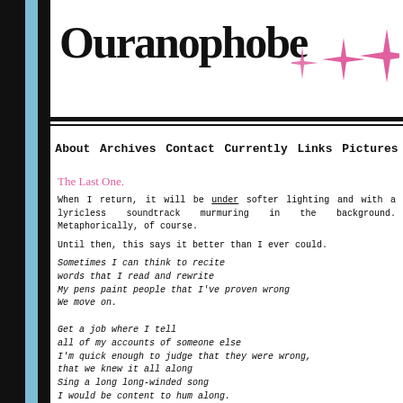Ouranophobe
[Figure (illustration): Three pink eight-pointed star shapes of increasing size]
About
Archives
Contact
Currently
Links
Pictures
The Last One.
When I return, it will be under softer lighting and with a lyricless soundtrack murmuring in the background. Metaphorically, of course.
Until then, this says it better than I ever could.
Sometimes I can think to recite
words that I read and rewrite
My pens paint people that I've proven wrong
We move on.

Get a job where I tell
all of my accounts of someone else
I'm quick enough to judge that they were wrong,
that we knew it all along
Sing a long long-winded song
I would be content to hum along.

If I state that my fingers know where to show
what everyone should have known,
I'll let it go
Hopefully you'll forget any words that I put in print
My luck, you'll change
Have strength enough to walk away.
12-06-2006 3:37 PM - comments (0)
Look, A Post.